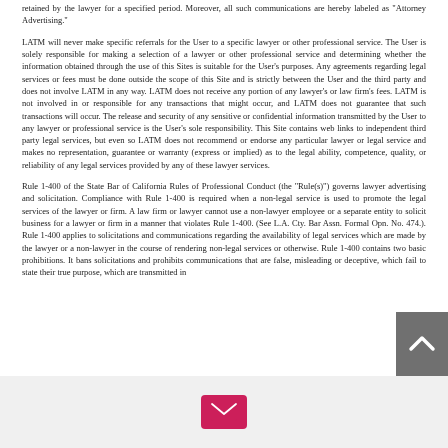retained by the lawyer for a specified period. Moreover, all such communications are hereby labeled as "Attorney Advertising."
LATM will never make specific referrals for the User to a specific lawyer or other professional service. The User is solely responsible for making a selection of a lawyer or other professional service and determining whether the information obtained through the use of this Sites is suitable for the User's purposes. Any agreements regarding legal services or fees must be done outside the scope of this Site and is strictly between the User and the third party and does not involve LATM in any way. LATM does not receive any portion of any lawyer's or law firm's fees. LATM is not involved in or responsible for any transactions that might occur, and LATM does not guarantee that such transactions will occur. The release and security of any sensitive or confidential information transmitted by the User to any lawyer or professional service is the User's sole responsibility. This Site contains web links to independent third party legal services, but even so LATM does not recommend or endorse any particular lawyer or legal service and makes no representation, guarantee or warranty (express or implied) as to the legal ability, competence, quality, or reliability of any legal services provided by any of these lawyer services.
Rule 1-400 of the State Bar of California Rules of Professional Conduct (the "Rule(s)") governs lawyer advertising and solicitation. Compliance with Rule 1-400 is required when a non-legal service is used to promote the legal services of the lawyer or firm. A law firm or lawyer cannot use a non-lawyer employee or a separate entity to solicit business for a lawyer or firm in a manner that violates Rule 1-400. (See L.A. Cty. Bar Assn. Formal Opn. No. 474.). Rule 1-400 applies to solicitations and communications regarding the availability of legal services which are made by the lawyer or a non-lawyer in the course of rendering non-legal services or otherwise. Rule 1-400 contains two basic prohibitions. It bans solicitations and prohibits communications that are false, misleading or deceptive, which fail to state their true purpose, which are transmitted in